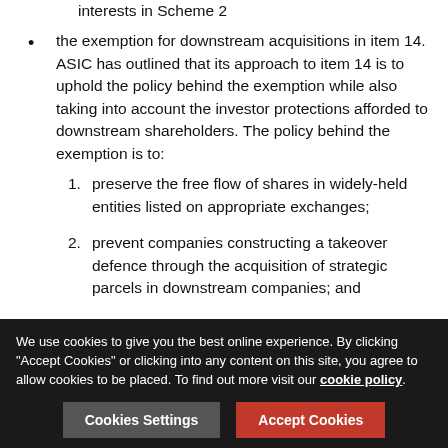interests in Scheme 2
the exemption for downstream acquisitions in item 14. ASIC has outlined that its approach to item 14 is to uphold the policy behind the exemption while also taking into account the investor protections afforded to downstream shareholders. The policy behind the exemption is to:
1. preserve the free flow of shares in widely-held entities listed on appropriate exchanges;
2. prevent companies constructing a takeover defence through the acquisition of strategic parcels in downstream companies; and
3. enhance international comity through the removal of obstacles to primarily foreign business
We use cookies to give you the best online experience. By clicking "Accept Cookies" or clicking into any content on this site, you agree to allow cookies to be placed. To find out more visit our cookie policy.